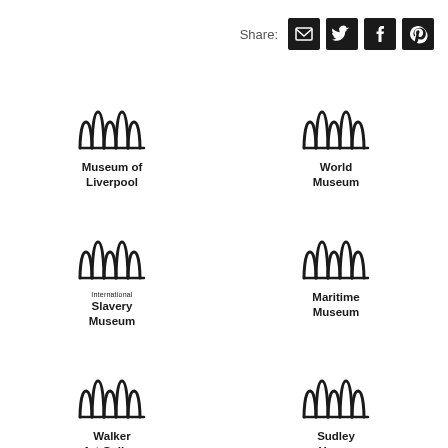[Figure (logo): Share bar with email, Twitter, Facebook, Pinterest icons]
[Figure (logo): Museum of Liverpool logo - wavy M symbol]
[Figure (logo): World Museum logo - wavy M symbol]
[Figure (logo): International Slavery Museum logo - wavy M symbol]
[Figure (logo): Maritime Museum logo - wavy M symbol]
[Figure (logo): Walker Art Gallery logo - wavy M symbol]
[Figure (logo): Sudley House logo - wavy M symbol]